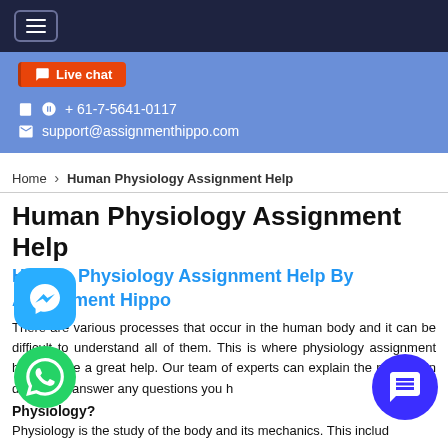≡ (hamburger menu)
Live chat | + 61-7-5641-0117 | support@assignmenthippo.com
Home > Human Physiology Assignment Help
Human Physiology Assignment Help
Human Physiology Assignment Help By Assignment Hippo
There are various processes that occur in the human body and it can be difficult to understand all of them. This is where physiology assignment help can be a great help. Our team of experts can explain the process in detail and answer any questions you h...
Physiology?
Physiology is the study of the body and its mechanics. This includes...